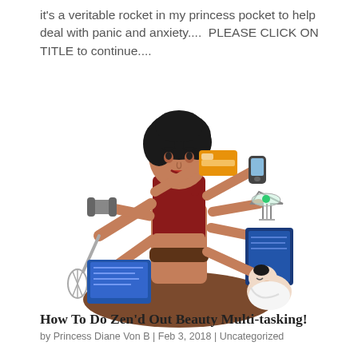it's a veritable rocket in my princess pocket to help deal with panic and anxiety....  PLEASE CLICK ON TITLE to continue....
[Figure (illustration): Cartoon illustration of a woman sitting cross-legged in a yoga pose with multiple arms (like a goddess), each hand holding a different item: a whisk, a dumbbell, a credit card, a cell phone, a martini glass, a book/tablet, a baby, and a laptop computer. She wears a red tank top and brown pants, with dark wavy hair.]
How To Do Zen'd Out Beauty Multi-tasking!
by Princess Diane Von B | Feb 3, 2018 | Uncategorized